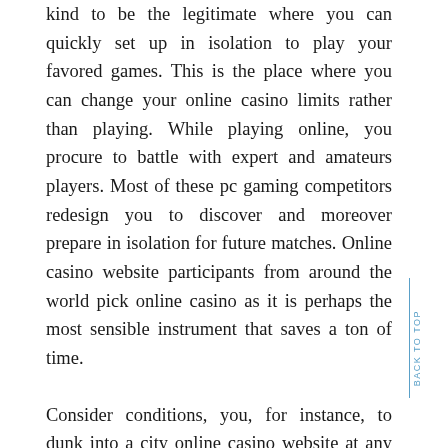kind to be the legitimate where you can quickly set up in isolation to play your favored games. This is the place where you can change your online casino limits rather than playing. While playing online, you procure to battle with expert and amateurs players. Most of these pc gaming competitors redesign you to discover and moreover prepare in isolation for future matches. Online casino website participants from around the world pick online casino as it is perhaps the most sensible instrument that saves a ton of time.
Consider conditions, you, for instance, to dunk into a city online casino website at any rate you acknowledge that it is reliably useful for you to design some extra break of your clamoring plan.